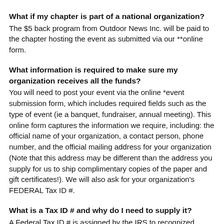What if my chapter is part of a national organization?
The $5 back program from Outdoor News Inc. will be paid to the chapter hosting the event as submitted via our **online form.
What information is required to make sure my organization receives all the funds?
You will need to post your event via the online *event submission form, which includes required fields such as the type of event (ie a banquet, fundraiser, annual meeting). This online form captures the information we require, including: the official name of your organization, a contact person, phone number, and the official mailing address for your organization (Note that this address may be different than the address you supply for us to ship complimentary copies of the paper and gift certificates!). We will also ask for your organization's FEDERAL Tax ID #.
What is a Tax ID # and why do I need to supply it?
A Federal Tax ID # is assigned by the IRS to recognized